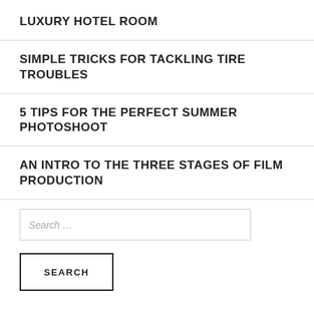LUXURY HOTEL ROOM
SIMPLE TRICKS FOR TACKLING TIRE TROUBLES
5 TIPS FOR THE PERFECT SUMMER PHOTOSHOOT
AN INTRO TO THE THREE STAGES OF FILM PRODUCTION
Search …
SEARCH